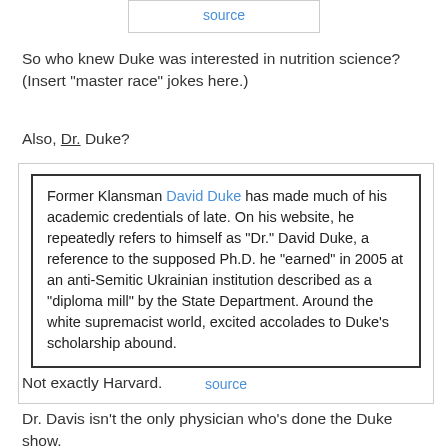source
So who knew Duke was interested in nutrition science? (Insert "master race" jokes here.)
Also, Dr. Duke?
Former Klansman David Duke has made much of his academic credentials of late. On his website, he repeatedly refers to himself as "Dr." David Duke, a reference to the supposed Ph.D. he "earned" in 2005 at an anti-Semitic Ukrainian institution described as a "diploma mill" by the State Department. Around the white supremacist world, excited accolades to Duke's scholarship abound.
source
Not exactly Harvard.
Dr. Davis isn't the only physician who's done the Duke show.